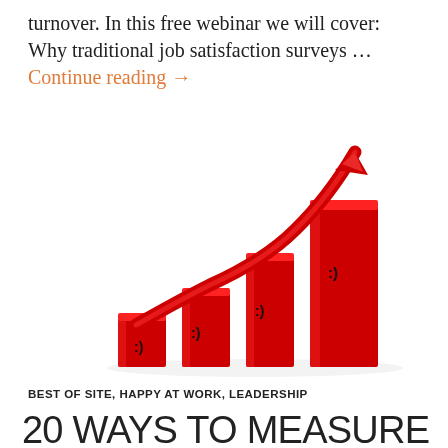turnover. In this free webinar we will cover: Why traditional job satisfaction surveys … Continue reading →
[Figure (illustration): 3D red bar chart with ascending bars and a red arrow pointing upward, each bar featuring a smiley face symbol]
BEST OF SITE, HAPPY AT WORK, LEADERSHIP
20 WAYS TO MEASURE